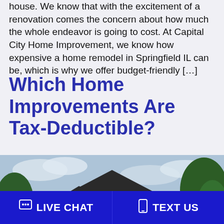house. We know that with the excitement of a renovation comes the concern about how much the whole endeavor is going to cost. At Capital City Home Improvement, we know how expensive a home remodel in Springfield IL can be, which is why we offer budget-friendly […]
Which Home Improvements Are Tax-Deductible?
[Figure (photo): Exterior photo of a two-story house with beige siding, dark roof, white-trimmed windows, and trees in the background against a cloudy sky.]
LIVE CHAT   TEXT US